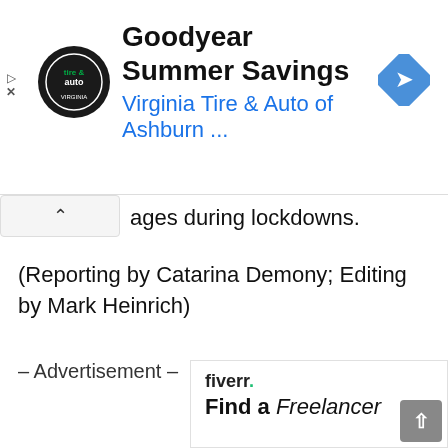[Figure (screenshot): Goodyear Summer Savings advertisement banner for Virginia Tire & Auto of Ashburn with logo and navigation arrow icon]
ages during lockdowns.
(Reporting by Catarina Demony; Editing by Mark Heinrich)
– Advertisement –
[Figure (screenshot): Fiverr advertisement banner with logo and tagline 'Find a Freelancer']